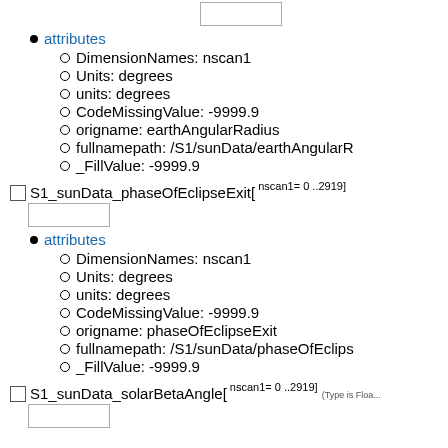[Figure (other): Checkbox input box at top of page]
attributes
DimensionNames: nscan1
Units: degrees
units: degrees
CodeMissingValue: -9999.9
origname: earthAngularRadius
fullnamepath: /S1/sunData/earthAngularR...
_FillValue: -9999.9
S1_sunData_phaseOfEclipseExit[ nscan1= 0 ..2919]
[Figure (other): Checkbox input box for phaseOfEclipseExit]
attributes
DimensionNames: nscan1
Units: degrees
units: degrees
CodeMissingValue: -9999.9
origname: phaseOfEclipseExit
fullnamepath: /S1/sunData/phaseOfEclips...
_FillValue: -9999.9
S1_sunData_solarBetaAngle[ nscan1= 0 ..2919] (Type is Float...)
[Figure (other): Checkbox input box for solarBetaAngle]